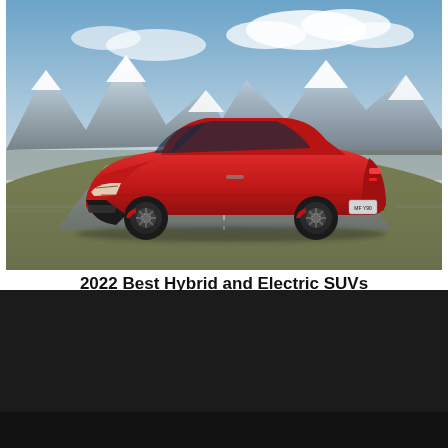[Figure (photo): Red Ford Mustang Mach-E electric SUV driving on a road with snow-capped mountains in the background]
2022 Best Hybrid and Electric SUVs
We use cookies to offer you a better browsing experience, analyze site traffic, personalize content, and serve targeted advertisements. Read about how we use cookies and how you can control them on our Privacy Policy. If you continue to use this site, you consent to our use of cookies.